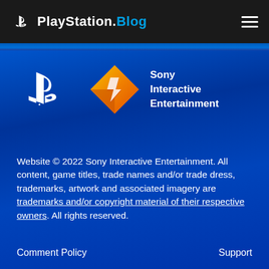PlayStation.Blog
[Figure (logo): PlayStation logo and Sony Interactive Entertainment diamond logo with text]
Website © 2022 Sony Interactive Entertainment. All content, game titles, trade names and/or trade dress, trademarks, artwork and associated imagery are trademarks and/or copyright material of their respective owners. All rights reserved.
Comment Policy
Support